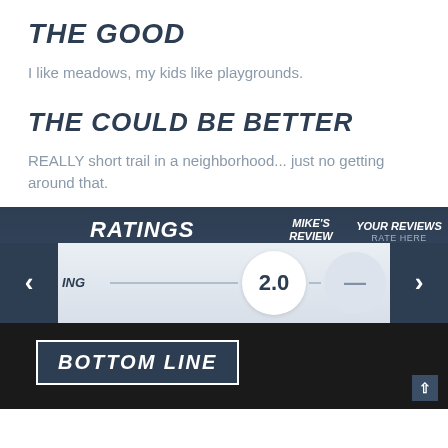THE GOOD
I like meadows, my kids like playgrounds.
THE COULD BE BETTER
REALLY short trail in a neighborhood... just no getting around that.
[Figure (infographic): Ratings panel with navigation arrows, showing Mike's Review rating of 2.0 and a placeholder circle with dash for Your Reviews. Columns: RATINGS label, MIKE'S REVIEW, YOUR REVIEWS (RATE HERE).]
[Figure (infographic): Bottom line banner over dark photo background with a box labeled BOTTOM LINE and a scroll-up arrow.]